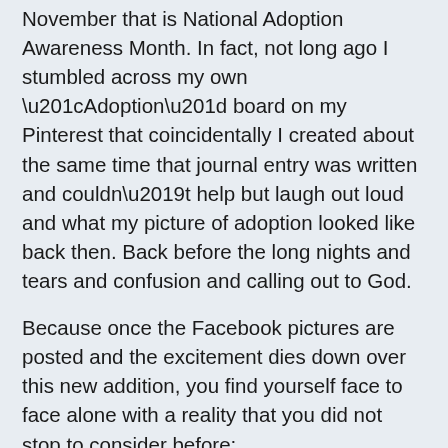November that is National Adoption Awareness Month. In fact, not long ago I stumbled across my own “Adoption” board on my Pinterest that coincidentally I created about the same time that journal entry was written and couldn’t help but laugh out loud and what my picture of adoption looked like back then. Back before the long nights and tears and confusion and calling out to God.
Because once the Facebook pictures are posted and the excitement dies down over this new addition, you find yourself face to face alone with a reality that you did not stop to consider before:
Yes, the Gospel is a picture of adoption into the family of Christ. And the Gospel includes immense amounts of suffering. Without death, there is no redemption. Without pain, there is no joy...